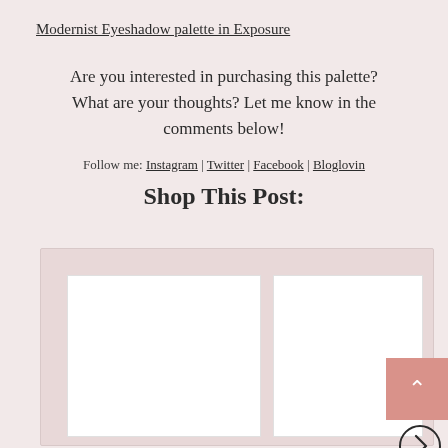Modernist Eyeshadow palette in Exposure
Are you interested in purchasing this palette? What are your thoughts? Let me know in the comments below!
Follow me: Instagram | Twitter | Facebook | Bloglovin
Shop This Post:
[Figure (other): Shop This Post widget showing two white product image placeholders side by side on a pink/mauve background, with a scroll-to-top button (salmon/pink color with upward caret) and a circular next arrow button in the bottom right.]